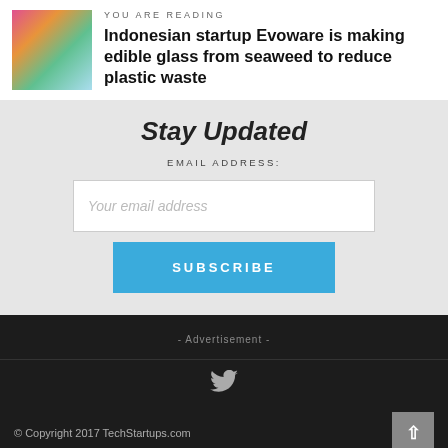YOU ARE READING
Indonesian startup Evoware is making edible glass from seaweed to reduce plastic waste
Stay Updated
EMAIL ADDRESS:
Your email address
SUBSCRIBE
- Advertisement -
© Copyright 2017 TechStartups.com